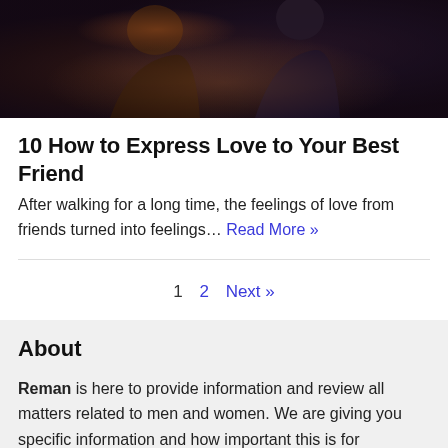[Figure (photo): Dark photo of two people silhouetted against a warm backlight, romantic or friendship scene]
10 How to Express Love to Your Best Friend
After walking for a long time, the feelings of love from friends turned into feelings... Read More »
1  2  Next »
About
Reman is here to provide information and review all matters related to men and women. We are giving you specific information and how important this is for